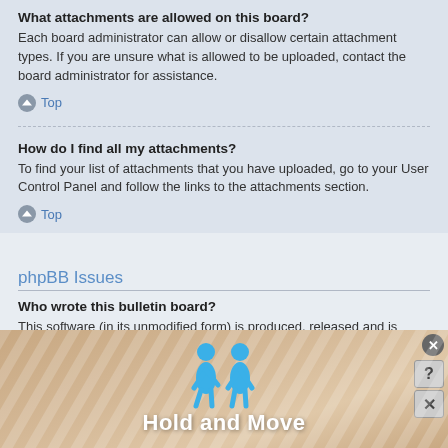What attachments are allowed on this board?
Each board administrator can allow or disallow certain attachment types. If you are unsure what is allowed to be uploaded, contact the board administrator for assistance.
Top
How do I find all my attachments?
To find your list of attachments that you have uploaded, go to your User Control Panel and follow the links to the attachments section.
Top
phpBB Issues
Who wrote this bulletin board?
This software (in its unmodified form) is produced, released and is copyright phpBB Limited. It is made available under the GNU General Public License, version 2 (GPL-2.0) and may be freely distributed. See About phpBB for more details.
[Figure (illustration): Advertisement banner at the bottom showing 'Hold and Move' with two blue cartoon figures, a close button (x), help (?) and close (x) icons on the right, and a wooden/lane background.]